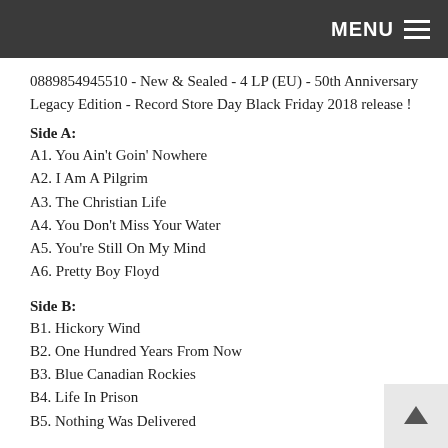MENU
0889854945510 - New & Sealed - 4 LP (EU) - 50th Anniversary Legacy Edition - Record Store Day Black Friday 2018 release !
Side A:
A1. You Ain't Goin' Nowhere
A2. I Am A Pilgrim
A3. The Christian Life
A4. You Don't Miss Your Water
A5. You're Still On My Mind
A6. Pretty Boy Floyd
Side B:
B1. Hickory Wind
B2. One Hundred Years From Now
B3. Blue Canadian Rockies
B4. Life In Prison
B5. Nothing Was Delivered
Additional Master Takes